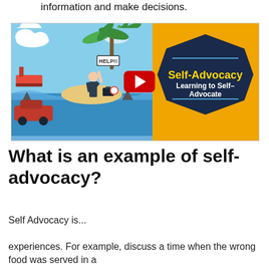information and make decisions.
[Figure (illustration): YouTube video thumbnail for 'Self-Advocacy: Learning to Self-Advocate'. Left half shows a cartoon scene with a man holding a 'HELP!!' sign on an island surrounded by sharks, a red car, a ship, and a palm tree. A red YouTube play button is overlaid. Right half shows a dark navy hexagonal badge on a yellow/orange background with 'Self-Advocacy' in yellow and 'Learning to Self-Advocate' in white.]
What is an example of self-advocacy?
Self Advocacy is...
experiences. For example, discuss a time when the wrong food was served in a